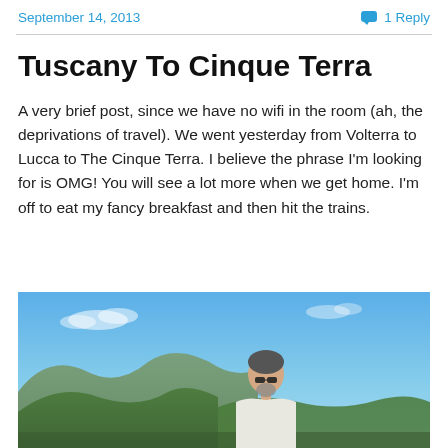September 14, 2013   💬 1 Reply
Tuscany To Cinque Terra
A very brief post, since we have no wifi in the room (ah, the deprivations of travel). We went yesterday from Volterra to Lucca to The Cinque Terra. I believe the phrase I'm looking for is OMG! You will see a lot more when we get home. I'm off to eat my fancy breakfast and then hit the trains.
[Figure (photo): A man wearing sunglasses standing outdoors with a blue sky and mountains/hillside in the background, likely at Cinque Terra, Italy.]